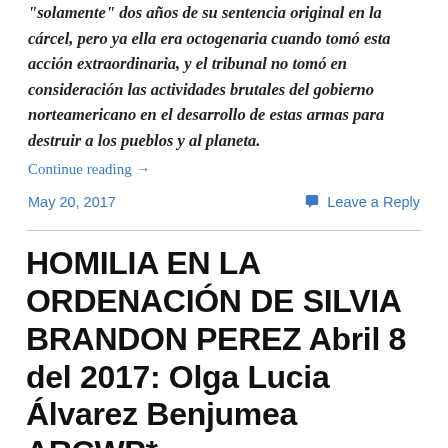"solamente" dos años de su sentencia original en la cárcel, pero ya ella era octogenaria cuando tomó esta acción extraordinaria, y el tribunal no tomó en consideración las actividades brutales del gobierno norteamericano en el desarrollo de estas armas para destruir a los pueblos y al planeta.
Continue reading →
May 20, 2017
Leave a Reply
HOMILIA EN LA ORDENACIÓN DE SILVIA BRANDON PEREZ Abril 8 del 2017: Olga Lucia Álvarez Benjumea ARCWP*